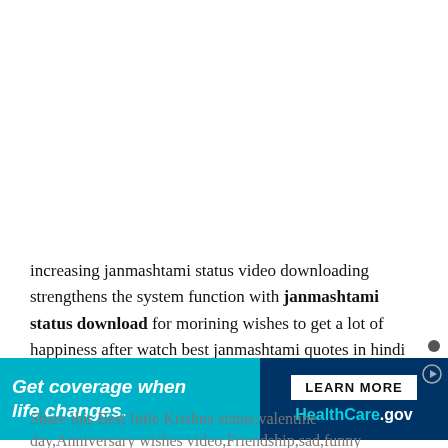increasing janmashtami status video downloading strengthens the system function with janmashtami status download for morining wishes to get a lot of happiness after watch best janmashtami quotes in hindi
[Figure (other): Advertisement banner for HealthCare.gov with teal left side reading 'Get coverage when life changes.' and dark blue right side with 'LEARN MORE' button and HealthCare.gov logo]
Share this Best little Krishna status,valentine day,Anniversary wishes video,Friendship,sad,funny